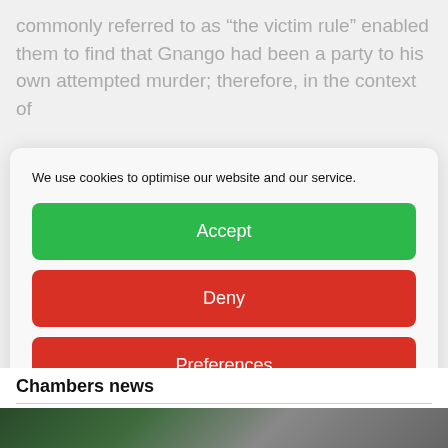commonly referred to as “the victim rule” enabled them to find that Gnango had been a party to his own attempted murder; therefore, in the context of
We use cookies to optimise our website and our service.
Accept
Deny
Preferences
Cookies   Privacy notice
Chambers news
[Figure (photo): Partial photo visible at bottom of page, appears to show people in a group setting, cropped]